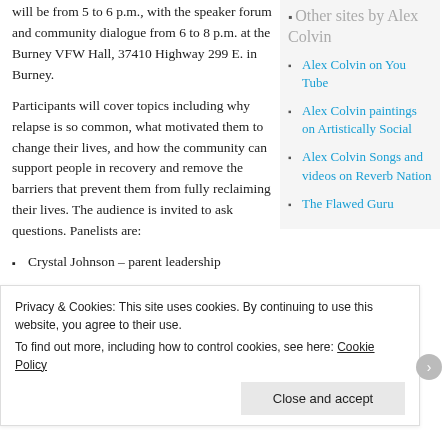will be from 5 to 6 p.m., with the speaker forum and community dialogue from 6 to 8 p.m. at the Burney VFW Hall, 37410 Highway 299 E. in Burney.
Participants will cover topics including why relapse is so common, what motivated them to change their lives, and how the community can support people in recovery and remove the barriers that prevent them from fully reclaiming their lives. The audience is invited to ask questions. Panelists are:
Crystal Johnson – parent leadership
Other sites by Alex Colvin
Alex Colvin on You Tube
Alex Colvin paintings on Artistically Social
Alex Colvin Songs and videos on Reverb Nation
The Flawed Guru
Privacy & Cookies: This site uses cookies. By continuing to use this website, you agree to their use.
To find out more, including how to control cookies, see here: Cookie Policy
Close and accept